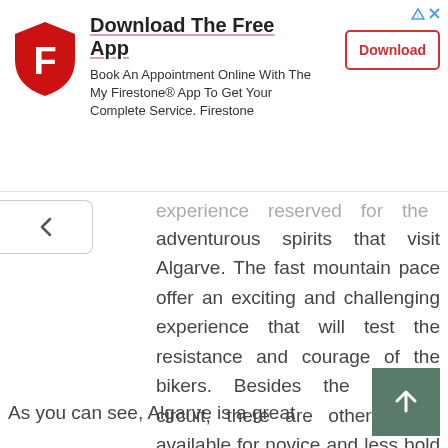[Figure (other): Firestone app advertisement banner with Firestone shield logo, title 'Download The Free App', subtitle text, and a red Download button]
experience reserved for the most adventurous spirits that visit Algarve. The fast mountain pace offer an exciting and challenging experience that will test the resistance and courage of the bikers. Besides the extreme circuit, there are other routes available for novice and less bold souls.
Related Article: Cycling in Paris - Tips To Help You Enjoy The Experience More
As you can see, Algarve is a great